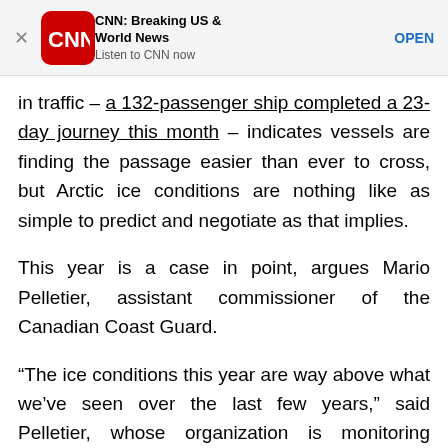[Figure (screenshot): CNN app advertisement banner with CNN logo (red rounded square), title 'CNN: Breaking US & World News', subtitle 'Listen to CNN now', and an OPEN button. An X close button is on the left.]
in traffic – a 132-passenger ship completed a 23-day journey this month – indicates vessels are finding the passage easier than ever to cross, but Arctic ice conditions are nothing like as simple to predict and negotiate as that implies.
This year is a case in point, argues Mario Pelletier, assistant commissioner of the Canadian Coast Guard.
“The ice conditions this year are way above what we’ve seen over the last few years,” said Pelletier, whose organization is monitoring “about a dozen” ships waiting for conditions to improve before resuming Arctic voyages.